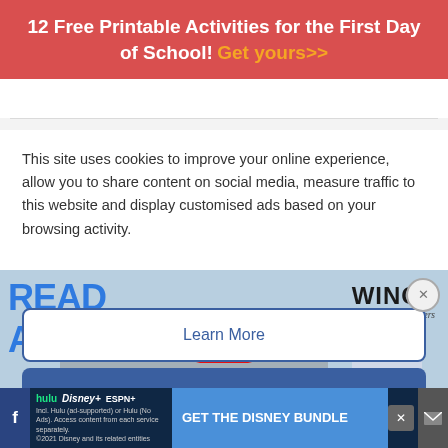12 Free Printable Activities for the First Day of School! Get yours>>
This site uses cookies to improve your online experience, allow you to share content on social media, measure traffic to this website and display customised ads based on your browsing activity.
Learn More
Accept
[Figure (screenshot): Video thumbnail showing READ ALOUDS text, YouTube play button, and WINGS book cover by Christopher Myers]
[Figure (screenshot): Disney Bundle advertisement banner with Hulu, Disney+, ESPN+ logos and GET THE DISNEY BUNDLE call to action]